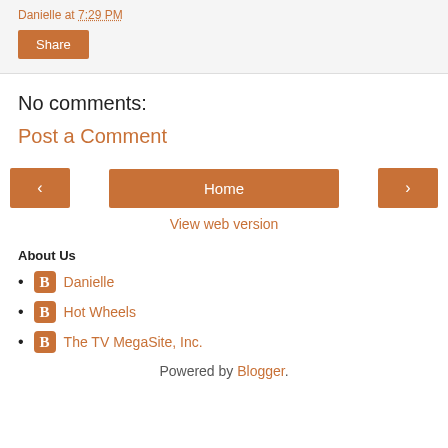Danielle at 7:29 PM
[Figure (other): Share button (orange rectangle with white text 'Share')]
No comments:
Post a Comment
[Figure (other): Navigation row with left arrow button, Home button, and right arrow button]
View web version
About Us
Danielle
Hot Wheels
The TV MegaSite, Inc.
Powered by Blogger.